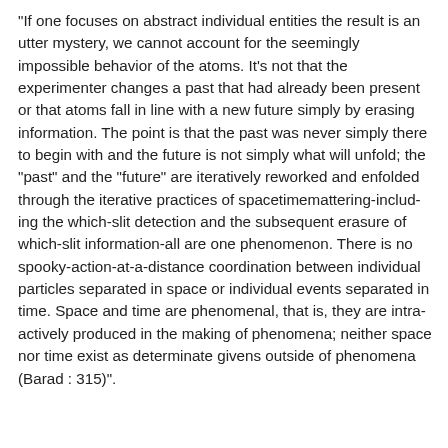"If one focuses on abstract individual entities the result is an utter mystery, we cannot account for the seemingly impossible behavior of the atoms. It's not that the experimenter changes a past that had already been present or that atoms fall in line with a new future simply by erasing information. The point is that the past was never simply there to begin with and the future is not simply what will unfold; the "past" and the "future" are iteratively reworked and enfolded through the iterative practices of spacetimemattering-includ-ing the which-slit detection and the subsequent erasure of which-slit information-all are one phenomenon. There is no spooky-action-at-a-distance coordination between individual particles separated in space or individual events separated in time. Space and time are phenomenal, that is, they are intra-actively produced in the making of phenomena; neither space nor time exist as determinate givens outside of phenomena (Barad : 315)".